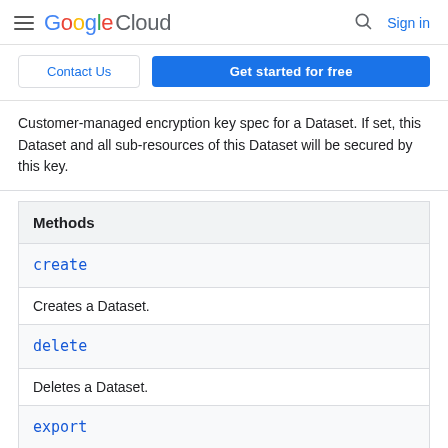Google Cloud  Sign in
Contact Us  Get started for free
Customer-managed encryption key spec for a Dataset. If set, this Dataset and all sub-resources of this Dataset will be secured by this key.
| Methods |
| --- |
| create | Creates a Dataset. |
| delete | Deletes a Dataset. |
| export | Exports data from a Dataset. |